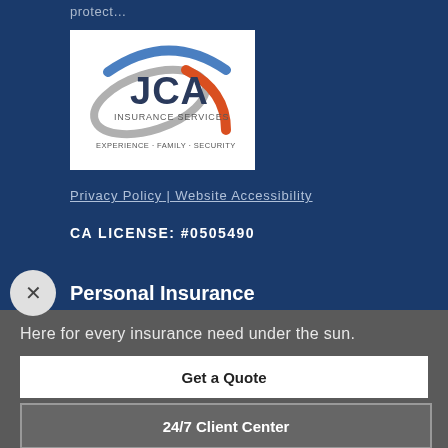protect…
[Figure (logo): JCA Insurance Services logo with swoosh design and tagline EXPERIENCE · FAMILY · SECURITY]
Privacy Policy | Website Accessibility
CA LICENSE: #0505490
Personal Insurance
Here for every insurance need under the sun.
Get a Quote
24/7 Client Center